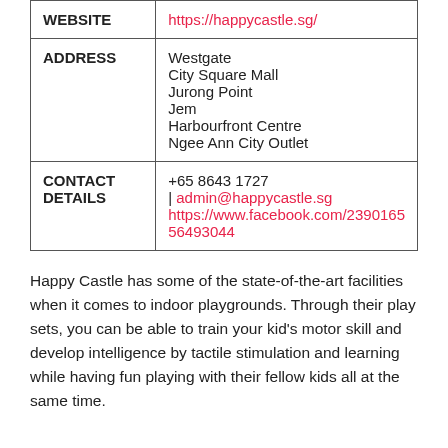|  |  |
| --- | --- |
| WEBSITE | https://happycastle.sg/ |
| ADDRESS | Westgate
City Square Mall
Jurong Point
Jem
Harbourfront Centre
Ngee Ann City Outlet |
| CONTACT DETAILS | +65 8643 1727
| admin@happycastle.sg
https://www.facebook.com/239016556493044 |
Happy Castle has some of the state-of-the-art facilities when it comes to indoor playgrounds. Through their play sets, you can be able to train your kid's motor skill and develop intelligence by tactile stimulation and learning while having fun playing with their fellow kids all at the same time.